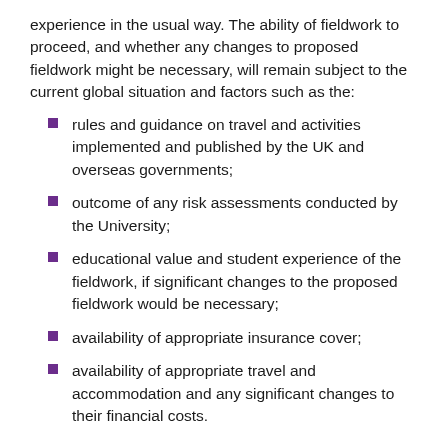experience in the usual way. The ability of fieldwork to proceed, and whether any changes to proposed fieldwork might be necessary, will remain subject to the current global situation and factors such as the:
rules and guidance on travel and activities implemented and published by the UK and overseas governments;
outcome of any risk assessments conducted by the University;
educational value and student experience of the fieldwork, if significant changes to the proposed fieldwork would be necessary;
availability of appropriate insurance cover;
availability of appropriate travel and accommodation and any significant changes to their financial costs.